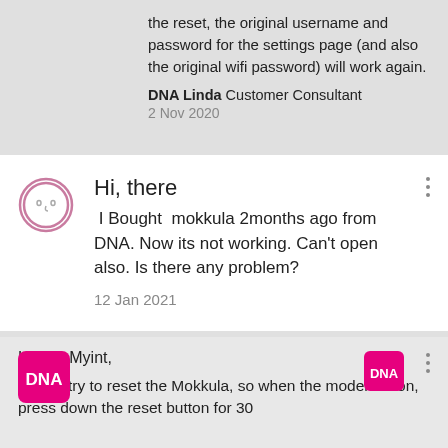the reset, the original username and password for the settings page (and also the original wifi password) will work again.
DNA Linda Customer Consultant
2 Nov 2020
Hi, there
I Bought mokkula 2months ago from DNA. Now its not working. Can't open also. Is there any problem?
12 Jan 2021
Hi Thu Myint,

please try to reset the Mokkula, so when the modem is on, press down the reset button for 30 seconds. If the Mokkula doesn't work after the